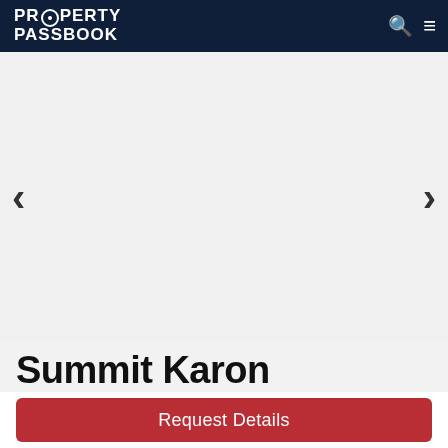PROPERTY PASSBOOK
[Figure (screenshot): Image carousel area with white/light grey background, left chevron arrow and right chevron arrow on either side]
Summit Karon
Request Details